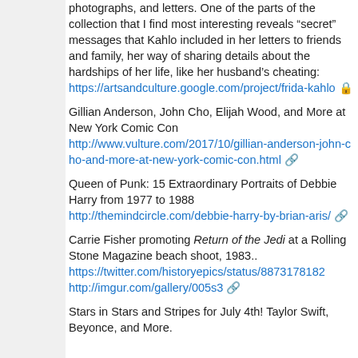photographs, and letters. One of the parts of the collection that I find most interesting reveals “secret” messages that Kahlo included in her letters to friends and family, her way of sharing details about the hardships of her life, like her husband’s cheating: https://artsandculture.google.com/project/frida-kahlo 🔒
Gillian Anderson, John Cho, Elijah Wood, and More at New York Comic Con http://www.vulture.com/2017/10/gillian-anderson-john-cho-and-more-at-new-york-comic-con.html
Queen of Punk: 15 Extraordinary Portraits of Debbie Harry from 1977 to 1988 http://themindcircle.com/debbie-harry-by-brian-aris/
Carrie Fisher promoting Return of the Jedi at a Rolling Stone Magazine beach shoot, 1983.. https://twitter.com/historyepics/status/8873178182 http://imgur.com/gallery/005s3
Stars in Stars and Stripes for July 4th! Taylor Swift, Beyonce, and More.